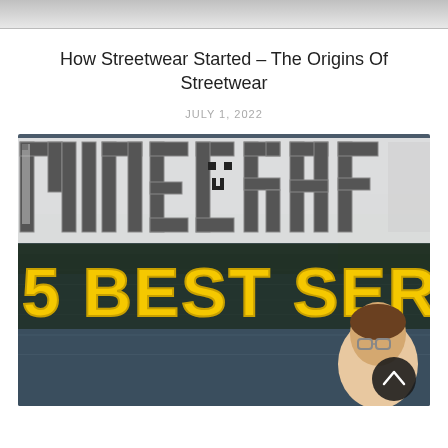[Figure (photo): Top strip showing partial image — appears to be a cropped photo of a person, showing only the very bottom portion]
How Streetwear Started – The Origins Of Streetwear
JULY 1, 2022
[Figure (screenshot): Minecraft-branded thumbnail image showing the Minecraft logo at top and text '5 BEST SERVER H' in large yellow letters, with a person visible in the lower right and a water/outdoor background. A dark circular scroll-up button is in the lower right corner.]